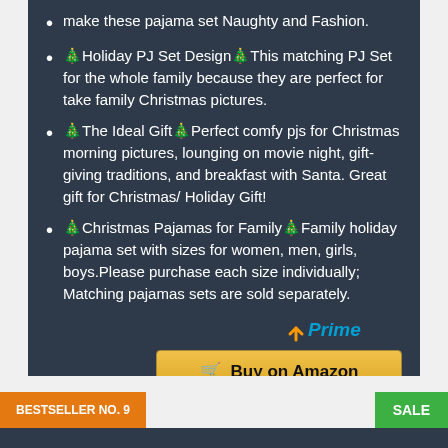make these pajama set Naughty and Fashion.
🎄Holiday PJ Set Design🎄This matching PJ Set for the whole family because they are perfect for take family Christmas pictures.
🎄The Ideal Gift🎄Perfect comfy pjs for Christmas morning pictures, lounging on movie night, gift-giving traditions, and breakfast with Santa. Great gift for Christmas/ Holiday Gift!
🎄Christmas Pajamas for Family🎄Family holiday pajama set with sizes for women, men, girls, boys.Please purchase each size individually; Matching pajamas sets are sold separately.
[Figure (logo): Amazon Prime logo with checkmark and italic 'Prime' text in blue]
Buy on Amazon
BESTSELLER NO. 9
SALE